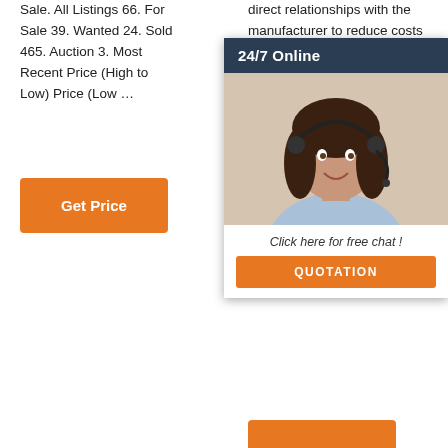Sale. All Listings 66. For Sale 39. Wanted 24. Sold 465. Auction 3. Most Recent Price (High to Low) Price (Low …
[Figure (other): Orange 'Get Price' button]
direct relationships with the manufacturer to reduce costs and help you find your aug… poss… Sup… doe… tran… can… cont… and que… about which machine you should use and how to get the most out of your jo…
[Figure (other): 24/7 Online chat widget overlay with woman with headset, 'Click here for free chat!' text, and orange QUOTATION button]
[Figure (other): Orange button at bottom right (partially visible)]